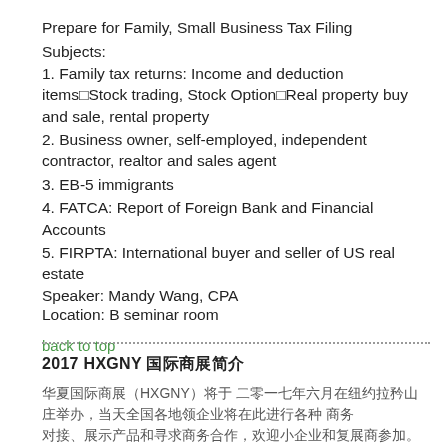Prepare for Family, Small Business Tax Filing
Subjects:
1. Family tax returns: Income and deduction items Stock trading, Stock Option Real property buy and sale, rental property
2. Business owner, self-employed, independent contractor, realtor and sales agent
3. EB-5 immigrants
4. FATCA: Report of Foreign Bank and Financial Accounts
5. FIRPTA: International buyer and seller of US real estate
Speaker: Mandy Wang, CPA
Location: B seminar room
back to top
2017 HXGNY  0 0 0 0 0 0 0 
[Chinese text paragraph]